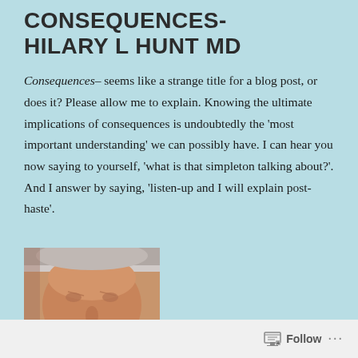CONSEQUENCES- HILARY L HUNT MD
Consequences– seems like a strange title for a blog post, or does it? Please allow me to explain. Knowing the ultimate implications of consequences is undoubtedly the ‘most important understanding’ we can possibly have. I can hear you now saying to yourself, ‘what is that simpleton talking about?’. And I answer by saying, ‘listen-up and I will explain post-haste’.
[Figure (photo): Close-up photograph of an elderly man's face, showing grey/white hair and wrinkled skin]
Follow ...